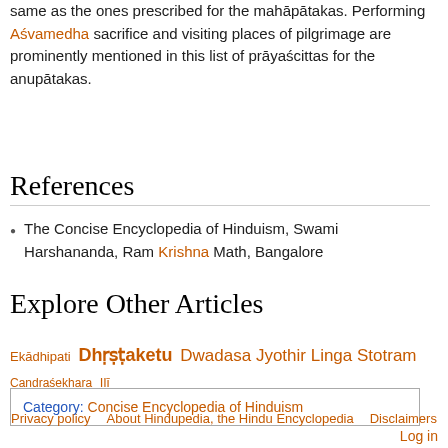same as the ones prescribed for the mahāpātakas. Performing Aśvamedha sacrifice and visiting places of pilgrimage are prominently mentioned in this list of prāyaścittas for the anupātakas.
References
The Concise Encyclopedia of Hinduism, Swami Harshananda, Ram Krishna Math, Bangalore
Explore Other Articles
Ekādhipati  Dhṛṣṭaketu  Dwadasa Jyothir Linga Stotram  Candraśekhara  Ilī
Category: Concise Encyclopedia of Hinduism
Privacy policy   About Hindupedia, the Hindu Encyclopedia   Disclaimers   Log in